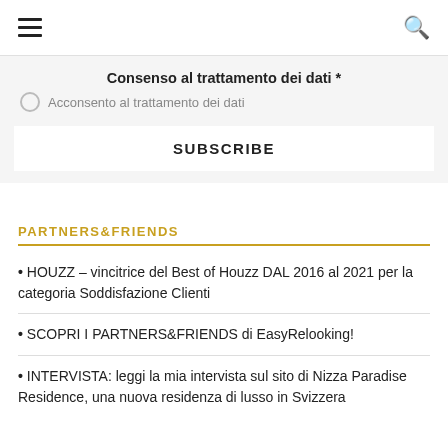☰ 🔍
Consenso al trattamento dei dati *
Acconsento al trattamento dei dati
SUBSCRIBE
PARTNERS&FRIENDS
• HOUZZ – vincitrice del Best of Houzz DAL 2016 al 2021 per la categoria Soddisfazione Clienti
• SCOPRI I PARTNERS&FRIENDS di EasyRelooking!
• INTERVISTA: leggi la mia intervista sul sito di Nizza Paradise Residence, una nuova residenza di lusso in Svizzera